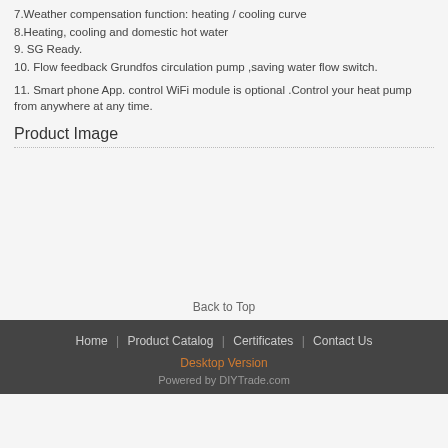7.Weather compensation function: heating / cooling curve
8.Heating, cooling and domestic hot water
9. SG Ready.
10. Flow feedback Grundfos circulation pump ,saving water flow switch.
11. Smart phone App. control WiFi module is optional .Control your heat pump from anywhere at any time.
Product Image
Back to Top
Home | Product Catalog | Certificates | Contact Us
Desktop Version
Powered by DIYTrade.com